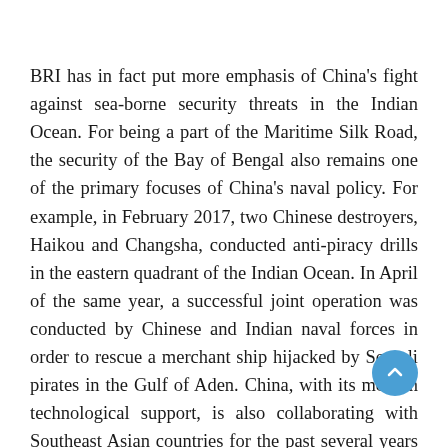BRI has in fact put more emphasis of China's fight against sea-borne security threats in the Indian Ocean. For being a part of the Maritime Silk Road, the security of the Bay of Bengal also remains one of the primary focuses of China's naval policy. For example, in February 2017, two Chinese destroyers, Haikou and Changsha, conducted anti-piracy drills in the eastern quadrant of the Indian Ocean. In April of the same year, a successful joint operation was conducted by Chinese and Indian naval forces in order to rescue a merchant ship hijacked by Somali pirates in the Gulf of Aden. China, with its modern technological support, is also collaborating with Southeast Asian countries for the past several years in this regard. These engagements have been providing China with pragmatic experience as well as expertise on the nature of security threats in the Bay of Bengal and their possible prevention strategies. These